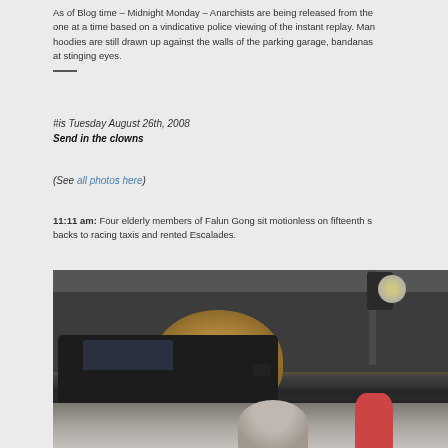As of Blog time – Midnight Monday – Anarchists are being released from the jail one at a time based on a vindicative police viewing of the instant replay. Many in hoodies are still drawn up against the walls of the parking garage, bandanas at stinging eyes.
#is Tuesday August 26th, 2008
Send in the clowns
(See all photos here)
11:11 am: Four elderly members of Falun Gong sit motionless on fifteenth s... backs to racing taxis and rented Escalades.
[Figure (photo): Street scene photo showing a dark car, a tree with autumn foliage, a traffic light pole, and people on a city street.]